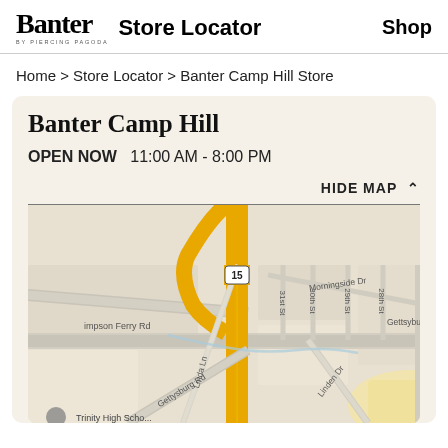Banter | Store Locator | Shop
Home > Store Locator > Banter Camp Hill Store
Banter Camp Hill
OPEN NOW   11:00 AM - 8:00 PM
HIDE MAP ∧
[Figure (map): Google Maps view showing the area around Banter Camp Hill store, with roads including Route 15, Gettysburg Rd, Linda Ln, Morningside Dr, 28th St, 29th St, 30th St, 31st St, Linden Dr, Hartzdale Dr, and Simpson Ferry Rd. A yellow highway (Route 15) runs vertically through the map.]